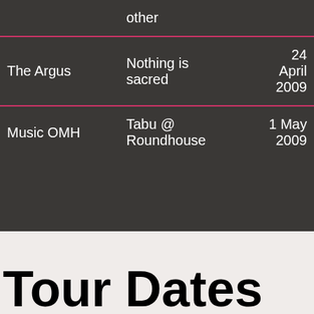| Publication | Title | Date |
| --- | --- | --- |
|  | other |  |
| The Argus | Nothing is sacred | 24 April 2009 |
| Music OMH | Tabu @ Roundhouse | 1 May 2009 |
Tour Dates